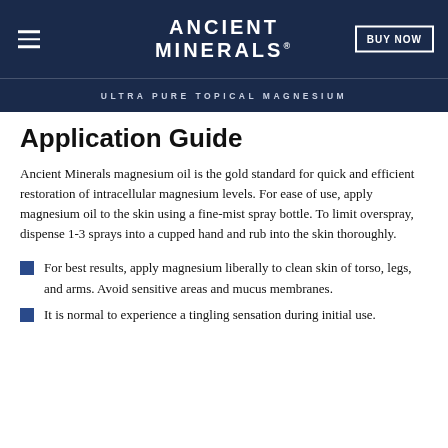ANCIENT MINERALS® | BUY NOW
ULTRA PURE TOPICAL MAGNESIUM
Application Guide
Ancient Minerals magnesium oil is the gold standard for quick and efficient restoration of intracellular magnesium levels. For ease of use, apply magnesium oil to the skin using a fine-mist spray bottle. To limit overspray, dispense 1-3 sprays into a cupped hand and rub into the skin thoroughly.
For best results, apply magnesium liberally to clean skin of torso, legs, and arms. Avoid sensitive areas and mucus membranes.
It is normal to experience a tingling sensation during initial use.